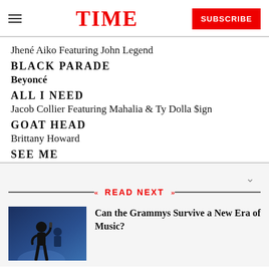TIME | SUBSCRIBE
Jhené Aiko Featuring John Legend
BLACK PARADE
Beyoncé
ALL I NEED
Jacob Collier Featuring Mahalia & Ty Dolla $ign
GOAT HEAD
Brittany Howard
SEE ME
READ NEXT
[Figure (photo): Photo of a musician performing, dark blue background]
Can the Grammys Survive a New Era of Music?